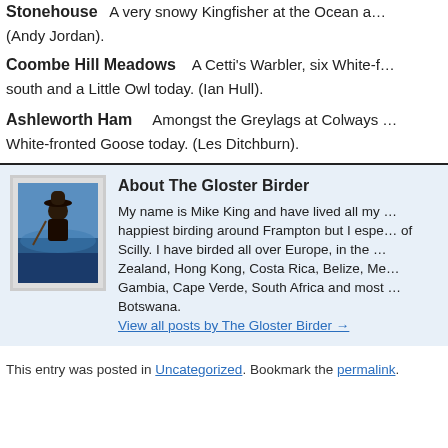Stonehouse — A very snowy Kingfisher at the Ocean … (Andy Jordan).
Coombe Hill Meadows   A Cetti's Warbler, six White-[fronted Geese flying] south and a Little Owl today. (Ian Hull).
Ashleworth Ham   Amongst the Greylags at Colways … White-fronted Goose today. (Les Ditchburn).
About The Gloster Birder
My name is Mike King and have lived all my … happiest birding around Frampton but I espe… of Scilly. I have birded all over Europe, in the … Zealand, Hong Kong, Costa Rica, Belize, Me… Gambia, Cape Verde, South Africa and most … Botswana.
View all posts by The Gloster Birder →
This entry was posted in Uncategorized. Bookmark the permalink.